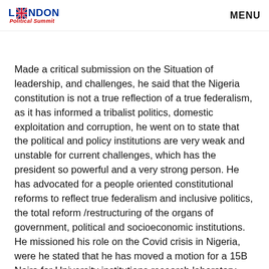London Political Summit | MENU
London Political Summit, Pre-Summit Zoom Conference 2020. Made a critical submission on the Situation of leadership, and challenges, he said that the Nigeria constitution is not a true reflection of a true federalism, as it has informed a tribalist politics, domestic exploitation and corruption, he went on to state that the political and policy institutions are very weak and unstable for current challenges, which has the president so powerful and a very strong person. He has advocated for a people oriented constitutional reforms to reflect true federalism and inclusive politics, the total reform /restructuring of the organs of government, political and socioeconomic institutions. He missioned his role on the Covid crisis in Nigeria, were he stated that he has moved a motion for a 15B Naira for University institutions research laboratory across Nigeria. The Pre-Summit Zoom conference July 2020, ended on a very good note, with over 50 participants, from across the globe, we had people joining from across Africa, in Europe and the US, which has opened up the wider opportunity for London Political Summit, in